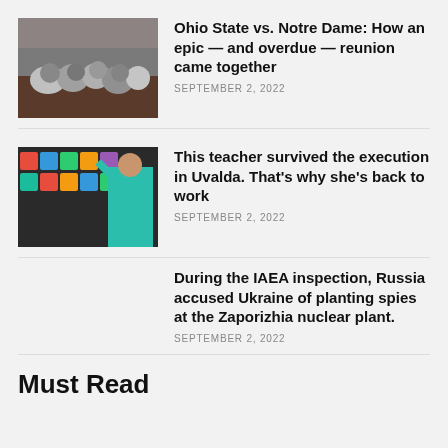[Figure (photo): Football players in a game between Ohio State and Notre Dame, crowded line of scrimmage]
Ohio State vs. Notre Dame: How an epic — and overdue — reunion came together
SEPTEMBER 2, 2022
[Figure (photo): A teacher in a teal shirt writing on a colorful classroom wall with decorations]
This teacher survived the execution in Uvalda. That's why she's back to work
SEPTEMBER 2, 2022
During the IAEA inspection, Russia accused Ukraine of planting spies at the Zaporizhia nuclear plant.
SEPTEMBER 2, 2022
Must Read